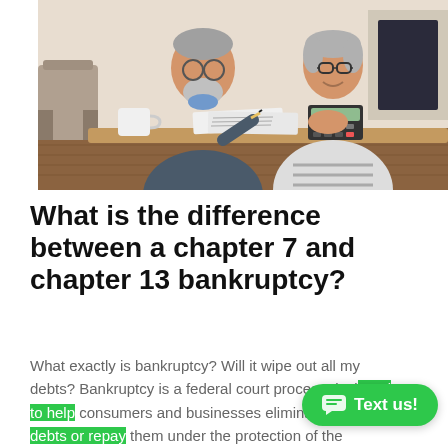[Figure (photo): An elderly couple sitting at a table, looking at documents and using a calculator. The man has gray hair and a beard wearing a dark sweater; the woman has short gray hair wearing glasses and a striped shirt. There is a white mug on the table.]
What is the difference between a chapter 7 and chapter 13 bankruptcy?
What exactly is bankruptcy? Will it wipe out all my debts? Bankruptcy is a federal court process designed to help consumers and businesses eliminate their debts or repay them under the protection of the bankruptcy court.